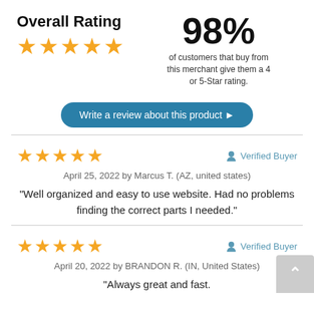Overall Rating
98%
of customers that buy from this merchant give them a 4 or 5-Star rating.
Write a review about this product ▶
★★★★★  Verified Buyer
April 25, 2022 by Marcus T. (AZ, united states)
"Well organized and easy to use website. Had no problems finding the correct parts I needed."
★★★★★  Verified Buyer
April 20, 2022 by BRANDON R. (IN, United States)
"Always great and fast."